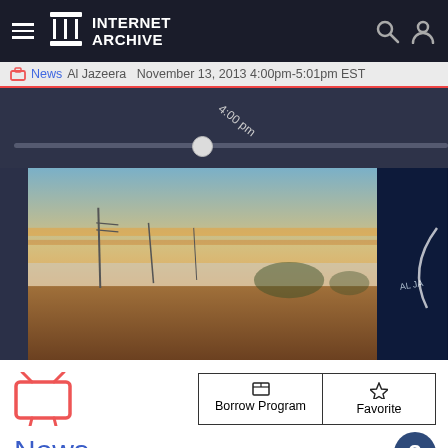Internet Archive
News  Al Jazeera  November 13, 2013 4:00pm-5:01pm EST
[Figure (screenshot): Video timeline scrubber showing 4:00 pm marker on a dark blue-grey background, with a circular thumb handle at roughly 43% position]
[Figure (screenshot): Video thumbnail showing a sunset/sunrise landscape with wheat field in foreground, power lines in distance, and a partial Al Jazeera logo thumbnail on the right]
[Figure (illustration): Large orange TV icon]
Borrow Program
Favorite
News
Al Jazeera November 13, 2013 4:00pm-5:01pm EST